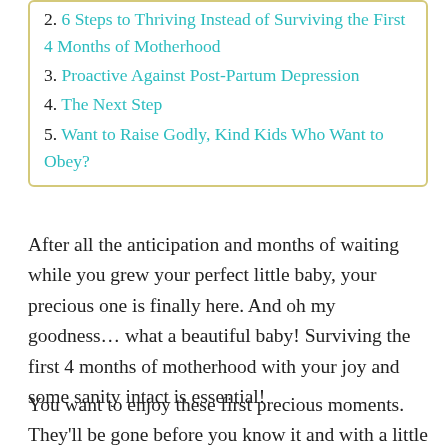2. 6 Steps to Thriving Instead of Surviving the First 4 Months of Motherhood
3. Proactive Against Post-Partum Depression
4. The Next Step
5. Want to Raise Godly, Kind Kids Who Want to Obey?
After all the anticipation and months of waiting while you grew your perfect little baby, your precious one is finally here. And oh my goodness… what a beautiful baby! Surviving the first 4 months of motherhood with your joy and some sanity intact is essential!
You want to enjoy these first precious moments. They'll be gone before you know it and with a little (or a lot) of prioritizing during your first 16 weeks with